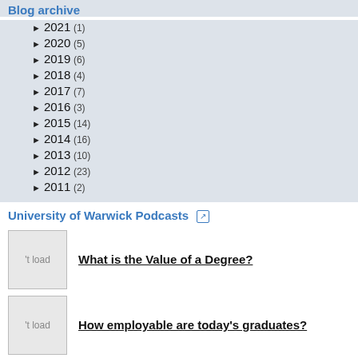Blog archive
► 2021 (1)
► 2020 (5)
► 2019 (6)
► 2018 (4)
► 2017 (7)
► 2016 (3)
► 2015 (14)
► 2014 (16)
► 2013 (10)
► 2012 (23)
► 2011 (2)
University of Warwick Podcasts
What is the Value of a Degree?
How employable are today's graduates?
Not signed in
Sign in

Powered by BlogBuilder
© MMXXII